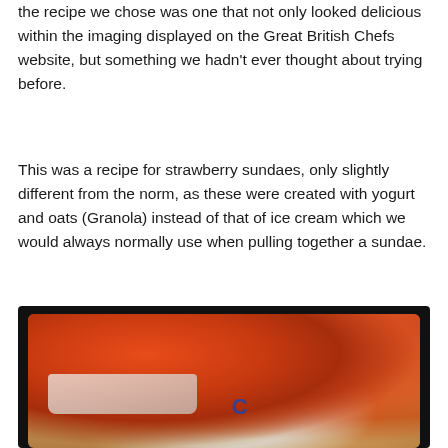the recipe we chose was one that not only looked delicious within the imaging displayed on the Great British Chefs website, but something we hadn't ever thought about trying before.
This was a recipe for strawberry sundaes, only slightly different from the norm, as these were created with yogurt and oats (Granola) instead of that of ice cream which we would always normally use when pulling together a sundae.
[Figure (photo): Photo of strawberry sundaes in glasses, showing layers of granola, yogurt/cream, and strawberry sauce/compote on top. Two glasses visible, one in foreground left and one partially visible on right, against a dark border background.]